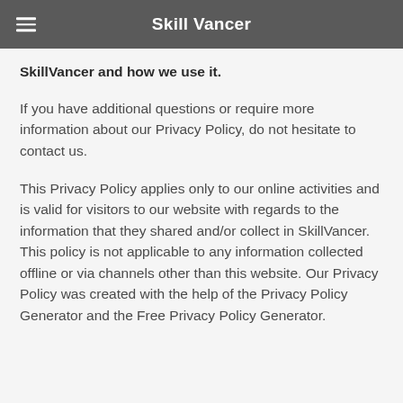Skill Vancer
SkillVancer and how we use it.
If you have additional questions or require more information about our Privacy Policy, do not hesitate to contact us.
This Privacy Policy applies only to our online activities and is valid for visitors to our website with regards to the information that they shared and/or collect in SkillVancer. This policy is not applicable to any information collected offline or via channels other than this website. Our Privacy Policy was created with the help of the Privacy Policy Generator and the Free Privacy Policy Generator.